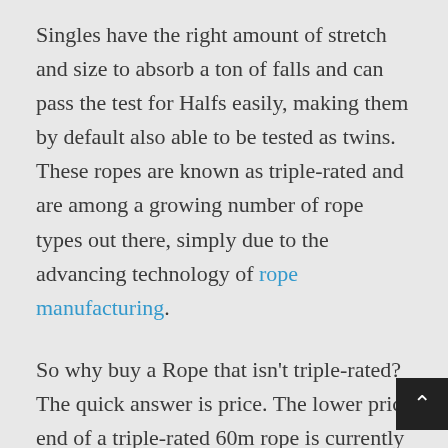Singles have the right amount of stretch and size to absorb a ton of falls and can pass the test for Halfs easily, making them by default also able to be tested as twins. These ropes are known as triple-rated and are among a growing number of rope types out there, simply due to the advancing technology of rope manufacturing.
So why buy a Rope that isn't triple-rated? The quick answer is price. The lower price end of a triple-rated 60m rope is currently somewhere around $200-210, compared to Single 60m ropes which are in the $140-150